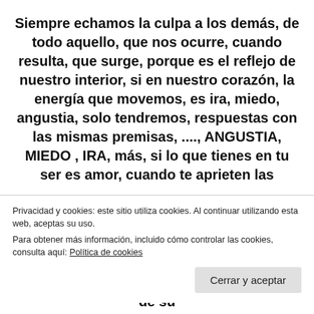Siempre echamos la culpa a los demás, de todo aquello, que nos ocurre, cuando resulta, que surge, porque es el reflejo de nuestro interior, si en nuestro corazón, la energía que movemos, es ira, miedo, angustia, solo tendremos, respuestas con las mismas premisas, ...., ANGUSTIA, MIEDO , IRA, más, si lo que tienes en tu ser es amor, cuando te aprieten las
Privacidad y cookies: este sitio utiliza cookies. Al continuar utilizando esta web, aceptas su uso.
Para obtener más información, incluido cómo controlar las cookies, consulta aquí: Política de cookies
un ejemplo, en un instante, sin pensar, sale de su